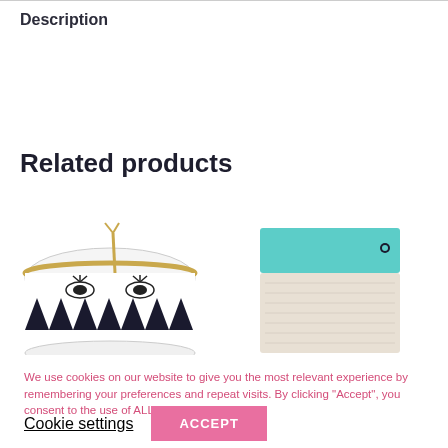Description
Related products
[Figure (photo): Decorative mug with eyelash design and geometric black and white pattern with gold rim, scissors visible inside.]
[Figure (photo): Teal and cream colored knit textile item, partially visible.]
We use cookies on our website to give you the most relevant experience by remembering your preferences and repeat visits. By clicking “Accept”, you consent to the use of ALL the cookies.
Cookie settings
ACCEPT